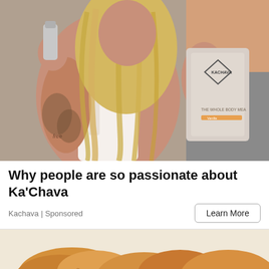[Figure (photo): Woman with long wavy blonde hair and tattoos on her arms, drinking from a bottle/shaker cup, holding a large bag of Ka'Chava 'The Whole Body Meal' supplement powder. She is wearing a white lace tank top. Indoor kitchen background.]
Why people are so passionate about Ka'Chava
Kachava | Sponsored
[Figure (photo): Close-up of baked goods that appear to be cookies or pastries with a golden-brown color, partially visible at the bottom of the page.]